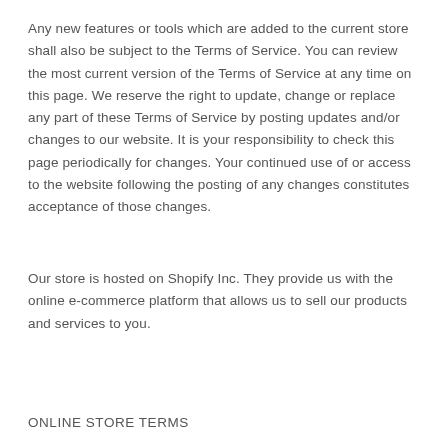Any new features or tools which are added to the current store shall also be subject to the Terms of Service. You can review the most current version of the Terms of Service at any time on this page. We reserve the right to update, change or replace any part of these Terms of Service by posting updates and/or changes to our website. It is your responsibility to check this page periodically for changes. Your continued use of or access to the website following the posting of any changes constitutes acceptance of those changes.
Our store is hosted on Shopify Inc. They provide us with the online e-commerce platform that allows us to sell our products and services to you.
ONLINE STORE TERMS